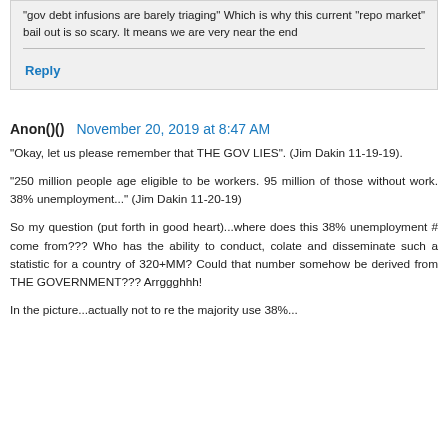"gov debt infusions are barely triaging" Which is why this current "repo market" bail out is so scary. It means we are very near the end
Reply
Anon()() November 20, 2019 at 8:47 AM
"Okay, let us please remember that THE GOV LIES". (Jim Dakin 11-19-19).
"250 million people age eligible to be workers. 95 million of those without work. 38% unemployment..." (Jim Dakin 11-20-19)
So my question (put forth in good heart)...where does this 38% unemployment # come from??? Who has the ability to conduct, colate and disseminate such a statistic for a country of 320+MM? Could that number somehow be derived from THE GOVERNMENT??? Arrggghhh!
In the picture...actually not to re the majority use 38%...